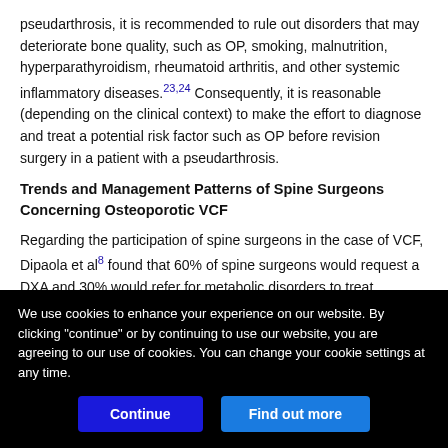pseudarthrosis, it is recommended to rule out disorders that may deteriorate bone quality, such as OP, smoking, malnutrition, hyperparathyroidism, rheumatoid arthritis, and other systemic inflammatory diseases.23,24 Consequently, it is reasonable (depending on the clinical context) to make the effort to diagnose and treat a potential risk factor such as OP before revision surgery in a patient with a pseudarthrosis.
Trends and Management Patterns of Spine Surgeons Concerning Osteoporotic VCF
Regarding the participation of spine surgeons in the case of VCF, Dipaola et al8 found that 60% of spine surgeons would request a DXA and 30% would refer for metabolic disorders to treat osteoporosis.
We use cookies to enhance your experience on our website. By clicking "continue" or by continuing to use our website, you are agreeing to our use of cookies. You can change your cookie settings at any time.